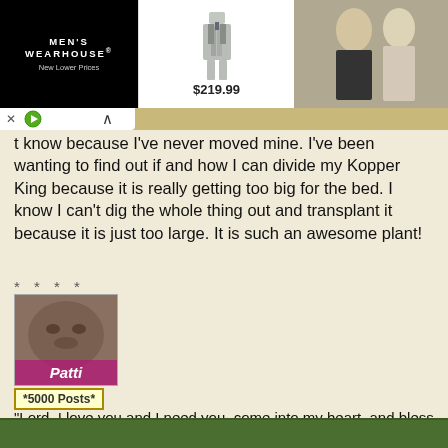[Figure (screenshot): Men's Wearhouse advertisement banner showing suit at $219.99 and couple in formal wear]
t know because I've never moved mine. I've been wanting to find out if and how I can divide my Kopper King because it is really getting too big for the bed. I know I can't dig the whole thing out and transplant it because it is just too large. It is such an awesome plant!
* * * *
[Figure (photo): User avatar showing a cat with pink name label 'Patti']
*5000 Posts*
"Lord, I love you and I need you, come into my heart, and bless me, my family, my home, and my friends, in Jesus' name. Amen!"